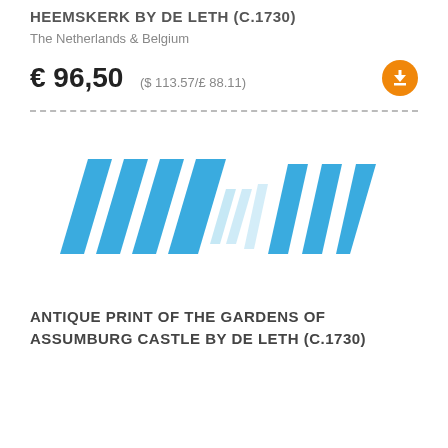HEEMSKERK BY DE LETH (C.1730)
The Netherlands & Belgium
€ 96,50  ($ 113.57/£ 88.11)
[Figure (logo): Blue diagonal stripe logo resembling stylized parallel lines/slashes fading from left to right, suggesting an antique print marketplace or dealer brand]
ANTIQUE PRINT OF THE GARDENS OF ASSUMBURG CASTLE BY DE LETH (C.1730)